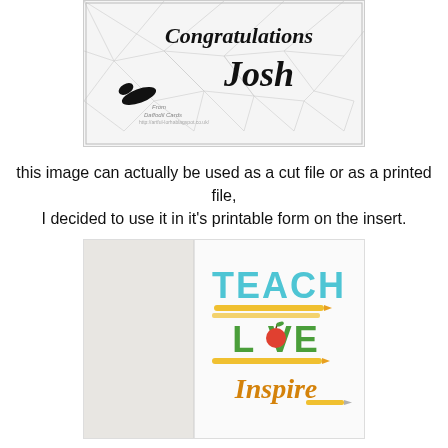[Figure (photo): Photo of a congratulations card with script text 'Congratulations Josh' on a geometric triangle pattern background, with a black bird silhouette and 'From Daffodil Cards' watermark.]
this image can actually be used as a cut file or as a printed file,
I decided to use it in it's printable form on the insert.
[Figure (photo): Photo of an open card insert with colorful text reading 'TEACH LOVE Inspire' with pencil graphics, in blue, green, and orange colors with a red apple replacing the 'O' in LOVE.]